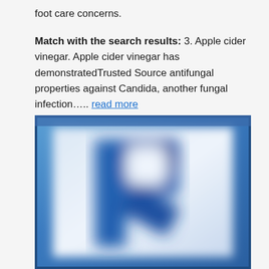foot care concerns.
Match with the search results: 3. Apple cider vinegar. Apple cider vinegar has demonstratedTrusted Source antifungal properties against Candida, another fungal infection….. read more
[Figure (photo): Blurred photo showing a large blue letter R on a light background, resembling a medical or pharmacy-related logo or screenshot.]